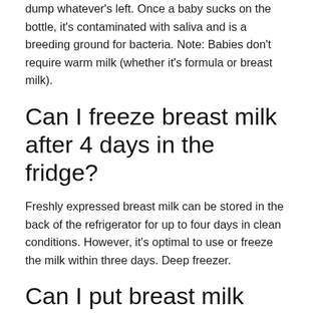dump whatever's left. Once a baby sucks on the bottle, it's contaminated with saliva and is a breeding ground for bacteria. Note: Babies don't require warm milk (whether it's formula or breast milk).
Can I freeze breast milk after 4 days in the fridge?
Freshly expressed breast milk can be stored in the back of the refrigerator for up to four days in clean conditions. However, it's optimal to use or freeze the milk within three days. Deep freezer.
Can I put breast milk back in fridge after warming it up?